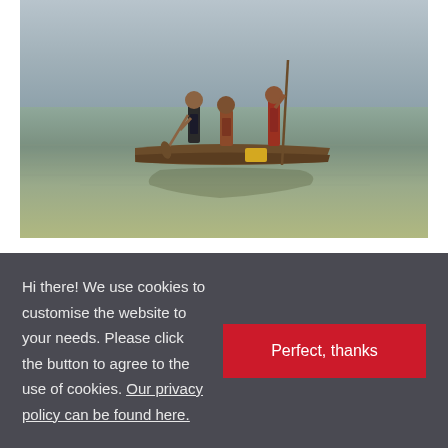[Figure (photo): Three men standing on a narrow wooden canoe/dugout boat on a muddy river. One man holds a paddle, another holds a long pole. The water is brownish and calm with ripples.]
In a conversation I had with a person living there, he put the resulting effects for the surrounding population in a nutshell,
Hi there! We use cookies to customise the website to your needs. Please click the button to agree to the use of cookies. Our privacy policy can be found here.